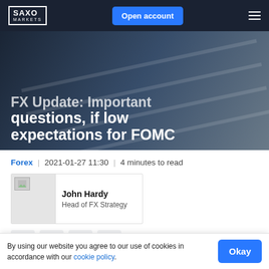SAXO MARKETS — Open account
FX Update: Important questions, if low expectations for FOMC
Forex | 2021-01-27 11:30 | 4 minutes to read
John Hardy
Head of FX Strategy
By using our website you agree to our use of cookies in accordance with our cookie policy.